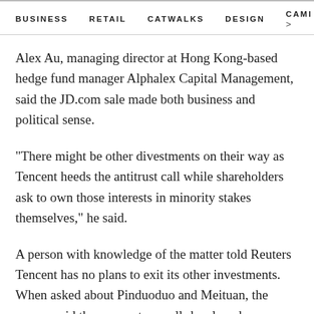BUSINESS   RETAIL   CATWALKS   DESIGN   CAMI  >
Alex Au, managing director at Hong Kong-based hedge fund manager Alphalex Capital Management, said the JD.com sale made both business and political sense.
"There might be other divestments on their way as Tencent heeds the antitrust call while shareholders ask to own those interests in minority stakes themselves," he said.
A person with knowledge of the matter told Reuters Tencent has no plans to exit its other investments. When asked about Pinduoduo and Meituan, the person said they are not as well-developed as JD.com.